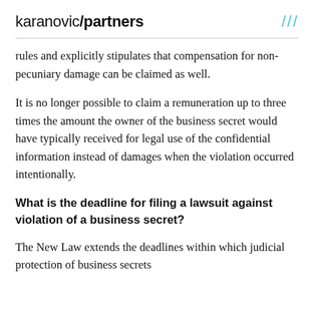karanovic/partners ///
rules and explicitly stipulates that compensation for non-pecuniary damage can be claimed as well.
It is no longer possible to claim a remuneration up to three times the amount the owner of the business secret would have typically received for legal use of the confidential information instead of damages when the violation occurred intentionally.
What is the deadline for filing a lawsuit against violation of a business secret?
The New Law extends the deadlines within which judicial protection of business secrets